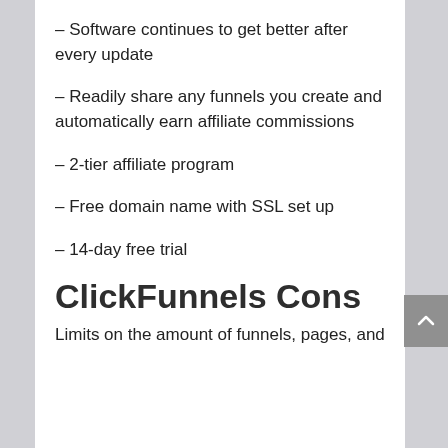– Software continues to get better after every update
– Readily share any funnels you create and automatically earn affiliate commissions
– 2-tier affiliate program
– Free domain name with SSL set up
– 14-day free trial
ClickFunnels Cons
Limits on the amount of funnels, pages, and